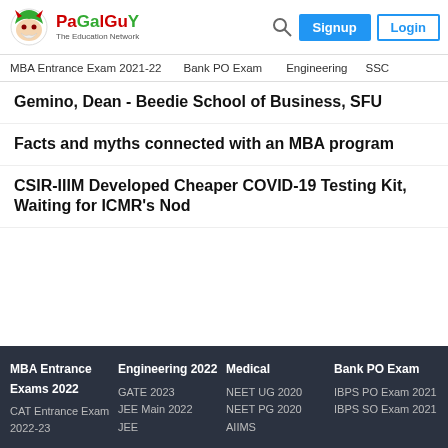PaGaLGuY - The Education Network | Signup | Login
MBA Entrance Exam 2021-22 | Bank PO Exam | Engineering | SSC
Gemino, Dean - Beedie School of Business, SFU
Facts and myths connected with an MBA program
CSIR-IIIM Developed Cheaper COVID-19 Testing Kit, Waiting for ICMR's Nod
MBA Entrance Exams 2022, Engineering 2022, Medical, Bank PO Exam | CAT Entrance Exam 2022-23, GATE 2023, JEE Main 2022, JEE, NEET UG 2020, NEET PG 2020, AIIMS, IBPS PO Exam 2021, IBPS SO Exam 2021